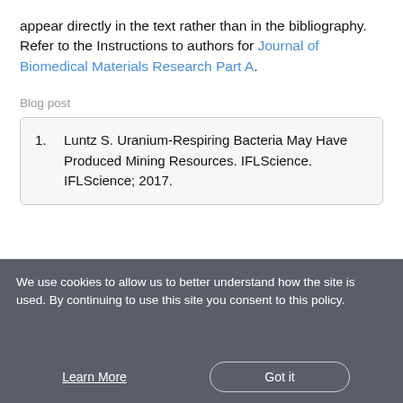appear directly in the text rather than in the bibliography. Refer to the Instructions to authors for Journal of Biomedical Materials Research Part A.
Blog post
1. Luntz S. Uranium-Respiring Bacteria May Have Produced Mining Resources. IFLScience. IFLScience; 2017.
We use cookies to allow us to better understand how the site is used. By continuing to use this site you consent to this policy.
Learn More
Got it